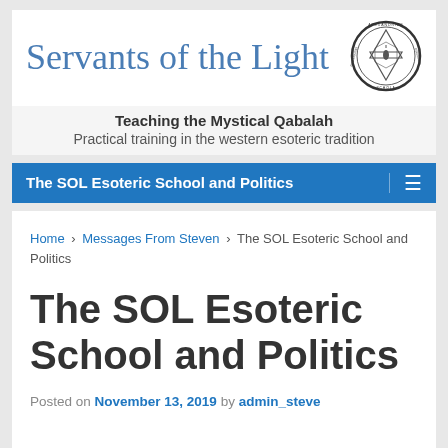Servants of the Light
[Figure (logo): Circular seal/logo with Star of David and esoteric symbols, text around border reading Alexandriae Schola]
Teaching the Mystical Qabalah
Practical training in the western esoteric tradition
The SOL Esoteric School and Politics
Home › Messages From Steven › The SOL Esoteric School and Politics
The SOL Esoteric School and Politics
Posted on November 13, 2019 by admin_steve